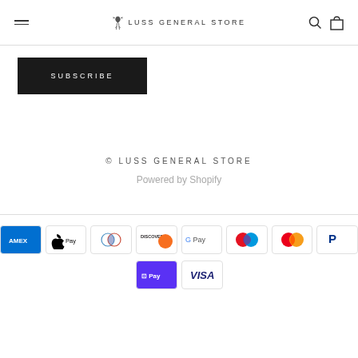LUSS GENERAL STORE
SUBSCRIBE
© LUSS GENERAL STORE
Powered by Shopify
[Figure (other): Payment method icons: American Express, Apple Pay, Diners Club, Discover, Google Pay, Maestro, Mastercard, PayPal, Shop Pay, Visa]